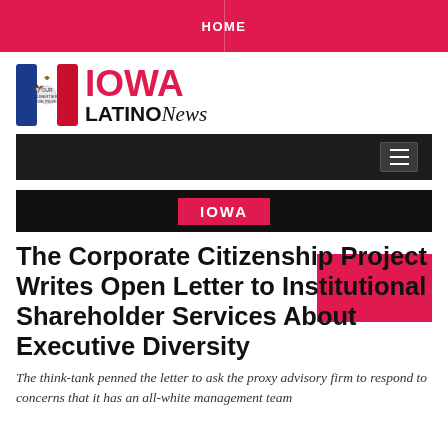HOME
[Figure (logo): Iowa Latino News logo with Iowa flag icon and stylized text]
[Figure (screenshot): Black navigation menu bar with hamburger icon]
IOWA
The Corporate Citizenship Project Writes Open Letter to Institutional Shareholder Services About Executive Diversity
The think-tank penned the letter to ask the proxy advisory firm to respond to concerns that it has an all-white management team